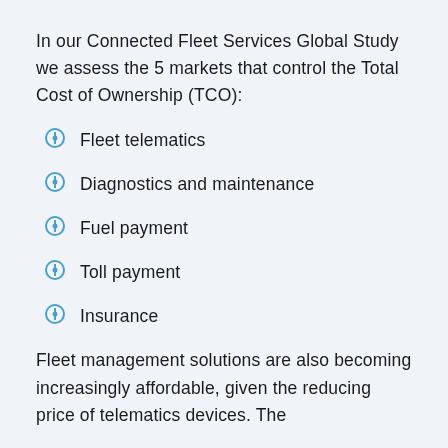In our Connected Fleet Services Global Study we assess the 5 markets that control the Total Cost of Ownership (TCO):
Fleet telematics
Diagnostics and maintenance
Fuel payment
Toll payment
Insurance
Fleet management solutions are also becoming increasingly affordable, given the reducing price of telematics devices. The